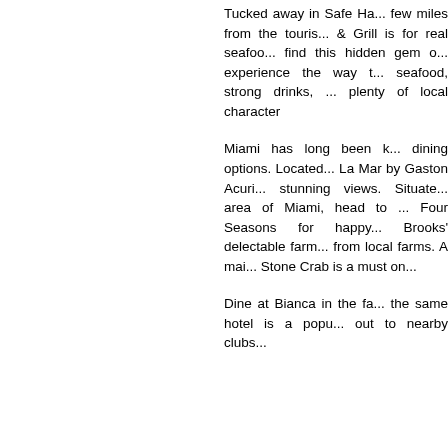Tucked away in Safe Ha... few miles from the touris... & Grill is for real seafoo... find this hidden gem o... experience the way t... seafood, strong drinks,... plenty of local character
Miami has long been k... dining options. Located... La Mar by Gaston Acuri... stunning views. Situate... area of Miami, head to... Four Seasons for happy... Brooks' delectable farm... from local farms. A ma... Stone Crab is a must on...
Dine at Bianca in the fa... the same hotel is a popu... out to nearby clubs...